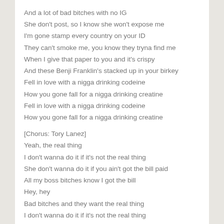And a lot of bad bitches with no IG
She don't post, so I know she won't expose me
I'm gone stamp every country on your ID
They can't smoke me, you know they tryna find me
When I give that paper to you and it's crispy
And these Benji Franklin's stacked up in your birkey
Fell in love with a nigga drinking codeine
How you gone fall for a nigga drinking creatine
Fell in love with a nigga drinking codeine
How you gone fall for a nigga drinking creatine
[Chorus: Tory Lanez]
Yeah, the real thing
I don't wanna do it if it's not the real thing
She don't wanna do it if you ain't got the bill paid
All my boss bitches know I got the bill
Hey, hey
Bad bitches and they want the real thing
I don't wanna do it if it's not the real thing
She don't wanna do it if you ain't got the bill paid
All my boss bitches know I got the bill, hey